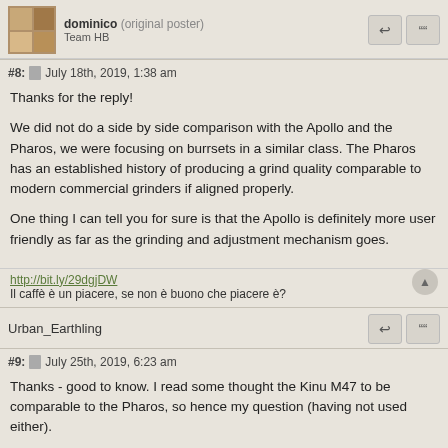dominico (original poster) Team HB
#8: July 18th, 2019, 1:38 am
Thanks for the reply!
We did not do a side by side comparison with the Apollo and the Pharos, we were focusing on burrsets in a similar class. The Pharos has an established history of producing a grind quality comparable to modern commercial grinders if aligned properly.
One thing I can tell you for sure is that the Apollo is definitely more user friendly as far as the grinding and adjustment mechanism goes.
http://bit.ly/29dgjDW
Il caffè è un piacere, se non è buono che piacere è?
Urban_Earthling
#9: July 25th, 2019, 6:23 am
Thanks - good to know. I read some thought the Kinu M47 to be comparable to the Pharos, so hence my question (having not used either).